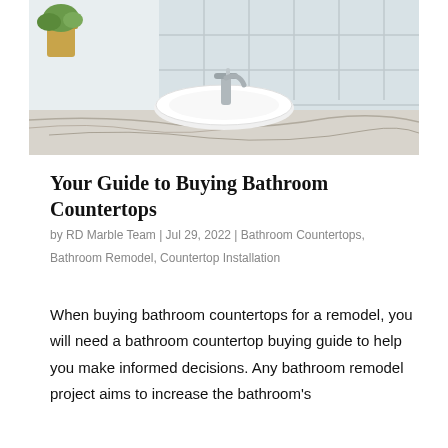[Figure (photo): Bathroom countertop with white vessel sink, chrome faucet, marble countertop surface, white square wall tiles, and a small potted plant in the background.]
Your Guide to Buying Bathroom Countertops
by RD Marble Team | Jul 29, 2022 | Bathroom Countertops, Bathroom Remodel, Countertop Installation
When buying bathroom countertops for a remodel, you will need a bathroom countertop buying guide to help you make informed decisions. Any bathroom remodel project aims to increase the bathroom's